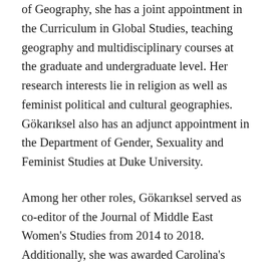of Geography, she has a joint appointment in the Curriculum in Global Studies, teaching geography and multidisciplinary courses at the graduate and undergraduate level. Her research interests lie in religion as well as feminist political and cultural geographies. Gökarıksel also has an adjunct appointment in the Department of Gender, Sexuality and Feminist Studies at Duke University.
Among her other roles, Gökarıksel served as co-editor of the Journal of Middle East Women's Studies from 2014 to 2018. Additionally, she was awarded Carolina's 2017 Chapman Family University Teaching Award and the 2018 American Association of Geographers Enhancing Diversity Award. She also co-directed the Duke in Istanbul summer program in 2012 and 2013 and the Duke Middle East in Europe summer program (based in Berlin) in 2018 and